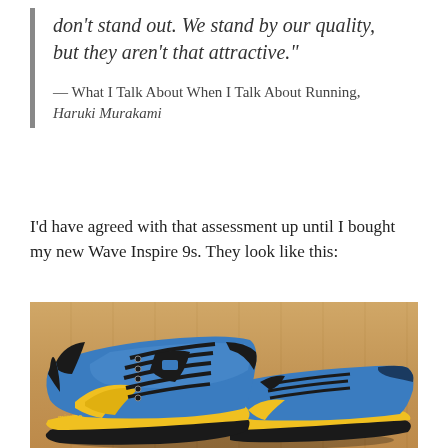don't stand out. We stand by our quality, but they aren't that attractive."
— What I Talk About When I Talk About Running, Haruki Murakami
I'd have agreed with that assessment up until I bought my new Wave Inspire 9s. They look like this:
[Figure (photo): Photo of a pair of Mizuno Wave Inspire 9 running shoes in blue and yellow with black laces, placed on a wooden floor.]